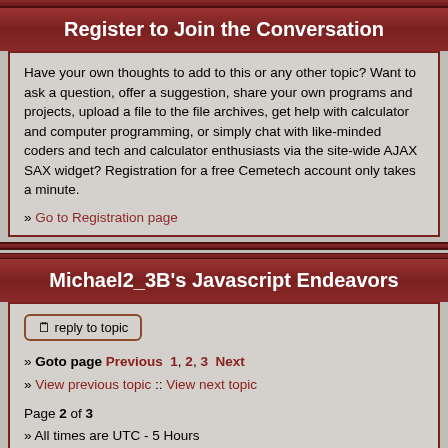Register to Join the Conversation
Have your own thoughts to add to this or any other topic? Want to ask a question, offer a suggestion, share your own programs and projects, upload a file to the file archives, get help with calculator and computer programming, or simply chat with like-minded coders and tech and calculator enthusiasts via the site-wide AJAX SAX widget? Registration for a free Cemetech account only takes a minute.

» Go to Registration page
Michael2_3B's Javascript Endeavors
reply to topic
» Goto page Previous 1, 2, 3 Next
» View previous topic :: View next topic
Page 2 of 3
» All times are UTC - 5 Hours
Jump to: Your Projects Go
You cannot post new topics in this forum
You cannot reply to topics in this forum
You cannot edit your posts in this forum
You cannot delete your posts in this forum
You cannot vote in polls in this forum